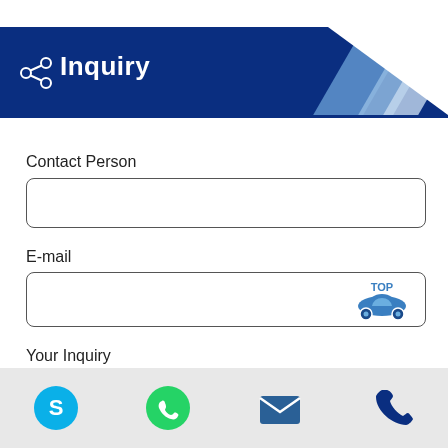Inquiry
Contact Person
E-mail
Your Inquiry
[Figure (infographic): Car icon with TOP label inside e-mail input field, blue color]
Skype | WhatsApp | Email | Phone contact icons